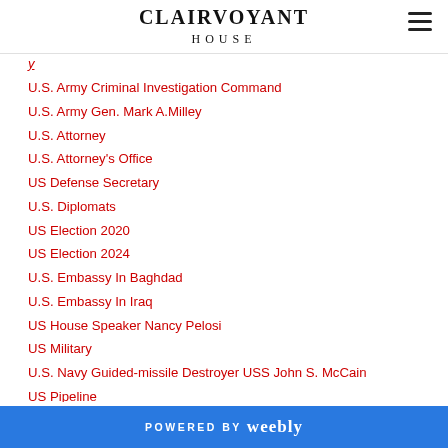CLAIRVOYANT HOUSE
U.S. Army Criminal Investigation Command
U.S. Army Gen. Mark A.Milley
U.S. Attorney
U.S. Attorney's Office
US Defense Secretary
U.S. Diplomats
US Election 2020
US Election 2024
U.S. Embassy In Baghdad
U.S. Embassy In Iraq
US House Speaker Nancy Pelosi
US Military
U.S. Navy Guided-missile Destroyer USS John S. McCain
US Pipeline
POWERED BY weebly